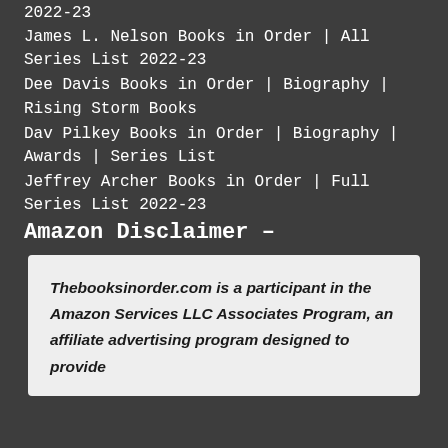2022-23
James L. Nelson Books in Order | All Series List 2022-23
Dee Davis Books in Order | Biography | Rising Storm Books
Dav Pilkey Books in Order | Biography | Awards | Series List
Jeffrey Archer Books in Order | Full Series List 2022-23
Amazon Disclaimer –
Thebooksinorder.com is a participant in the Amazon Services LLC Associates Program, an affiliate advertising program designed to provide